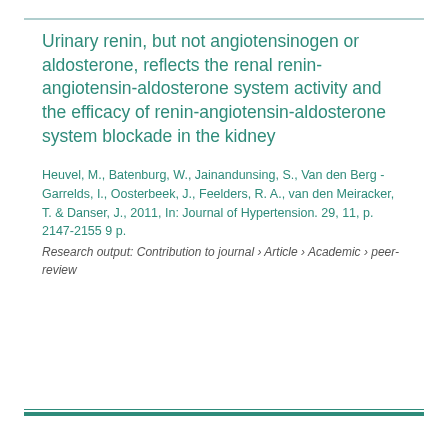Urinary renin, but not angiotensinogen or aldosterone, reflects the renal renin-angiotensin-aldosterone system activity and the efficacy of renin-angiotensin-aldosterone system blockade in the kidney
Heuvel, M., Batenburg, W., Jainandunsing, S., Van den Berg - Garrelds, I., Oosterbeek, J., Feelders, R. A., van den Meiracker, T. & Danser, J., 2011, In: Journal of Hypertension. 29, 11, p. 2147-2155 9 p.
Research output: Contribution to journal › Article › Academic › peer-review